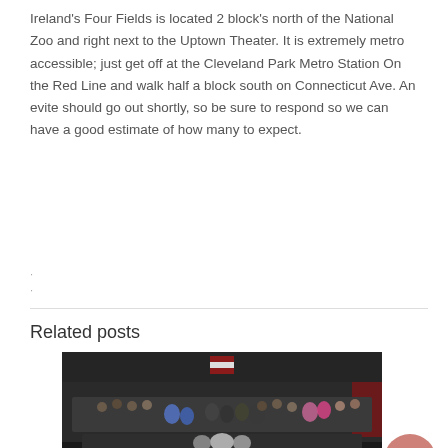Ireland's Four Fields is located 2 block's north of the National Zoo and right next to the Uptown Theater. It is extremely metro accessible; just get off at the Cleveland Park Metro Station On the Red Line and walk half a block south on Connecticut Ave. An evite should go out shortly, so be sure to respond so we can have a good estimate of how many to expect.
Related posts
[Figure (photo): A large group photo of people posing together inside a gym/CrossFit box with an American flag in the background and dark industrial ceiling.]
Programming Preview: Week of 6/29